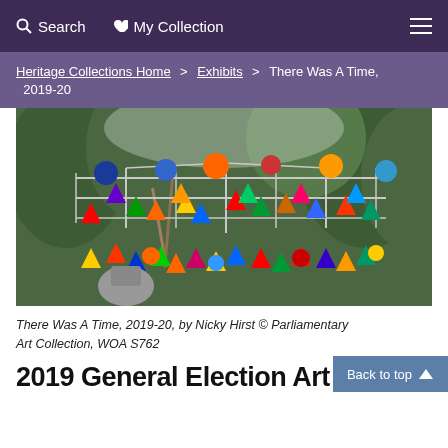Search   My Collection
Heritage Collections Home > Exhibits > There Was A Time, 2019-20
[Figure (photo): Photograph of a colourful hanging sculpture made of geometric shapes (triangles, circles) in bright colours including red, orange, yellow, green, blue, suspended from a metal frame structure outdoors among trees. The artwork is 'There Was A Time, 2019-20' by Nicky Hirst.]
There Was A Time, 2019-20, by Nicky Hirst © Parliamentary Art Collection, WOA S762
2019 General Election  Art